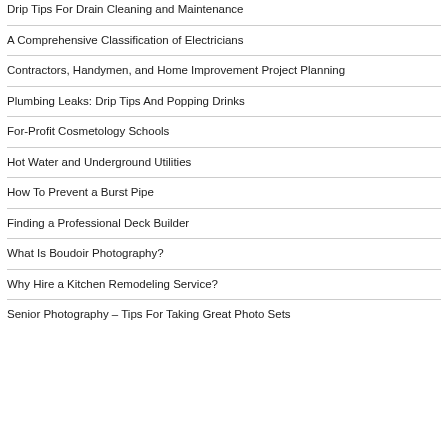Drip Tips For Drain Cleaning and Maintenance
A Comprehensive Classification of Electricians
Contractors, Handymen, and Home Improvement Project Planning
Plumbing Leaks: Drip Tips And Popping Drinks
For-Profit Cosmetology Schools
Hot Water and Underground Utilities
How To Prevent a Burst Pipe
Finding a Professional Deck Builder
What Is Boudoir Photography?
Why Hire a Kitchen Remodeling Service?
Senior Photography – Tips For Taking Great Photo Sets